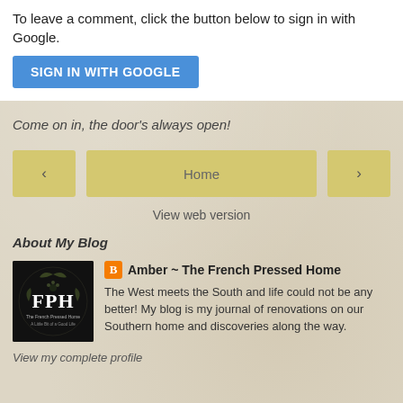To leave a comment, click the button below to sign in with Google.
SIGN IN WITH GOOGLE
Come on in, the door's always open!
< Home >
View web version
About My Blog
[Figure (logo): FPH - The French Pressed Home blog logo, dark background with white text and floral decoration]
Amber ~ The French Pressed Home
The West meets the South and life could not be any better! My blog is my journal of renovations on our Southern home and discoveries along the way.
View my complete profile